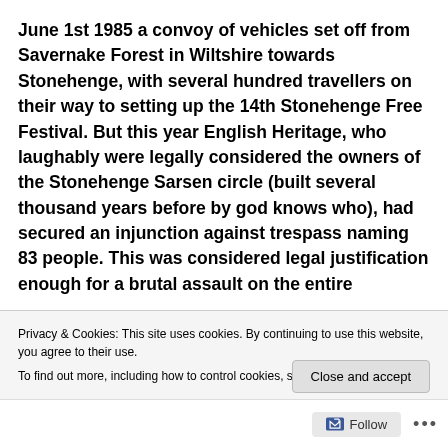June 1st 1985 a convoy of vehicles set off from Savernake Forest in Wiltshire towards Stonehenge, with several hundred travellers on their way to setting up the 14th Stonehenge Free Festival. But this year English Heritage, who laughably were legally considered the owners of the Stonehenge Sarsen circle (built several thousand years before by god knows who), had secured an injunction against trespass naming 83 people. This was considered legal justification enough for a brutal assault on the entire
Privacy & Cookies: This site uses cookies. By continuing to use this website, you agree to their use.
To find out more, including how to control cookies, see here: Cookie Policy
Close and accept
Follow